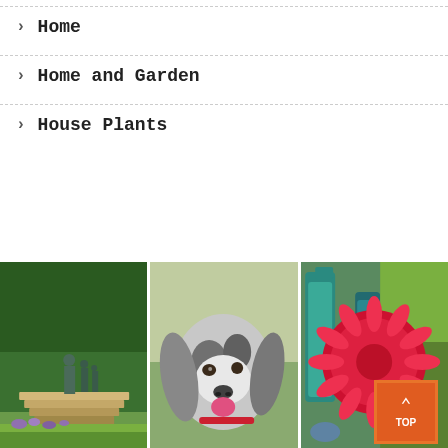> Home
> Home and Garden
> House Plants
[Figure (photo): Bronze statue of figures in a garden with hedges and lavender]
[Figure (photo): Close-up of a blue roan cocker spaniel dog looking at camera]
[Figure (photo): Large red dahlia flower with teal vases in background, orange TOP button overlay]